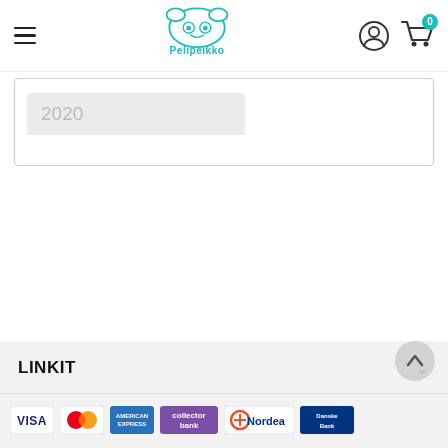[Figure (logo): Pelipeikko logo with teal monster character and teal text 'Pelipeikko']
2020
LINKIT
[Figure (logo): Payment method logos: VISA, Mastercard, American Express, Collector Bank, Nordea, Danske Bank]